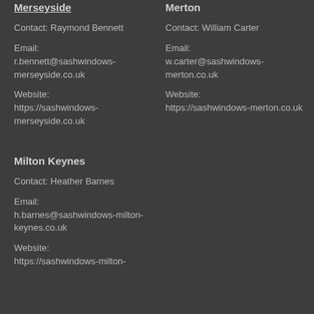Merseyside
Contact: Raymond Bennett
Email:
r.bennett@sashwindows-merseyside.co.uk
Website:
https://sashwindows-merseyside.co.uk
Merton
Contact: William Carter
Email:
w.carter@sashwindows-merton.co.uk
Website:
https://sashwindows-merton.co.uk
Milton Keynes
Contact: Heather Barnes
Email:
h.barnes@sashwindows-milton-keynes.co.uk
Website:
https://sashwindows-milton-